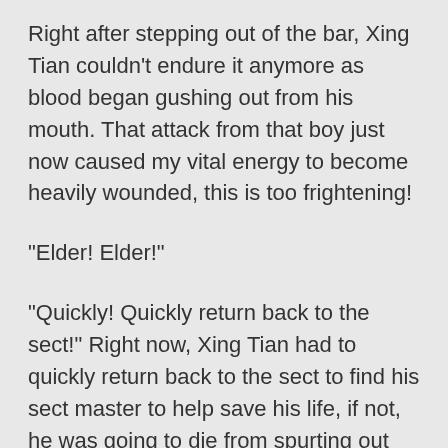Right after stepping out of the bar, Xing Tian couldn't endure it anymore as blood began gushing out from his mouth. That attack from that boy just now caused my vital energy to become heavily wounded, this is too frightening!
“Elder! Elder!”
“Quickly! Quickly return back to the sect!” Right now, Xing Tian had to quickly return back to the sect to find his sect master to help save his life, if not, he was going to die from spurting out too much blood.
Within the leisure bar, there were still three elders left. The elders were all sitting on the floor